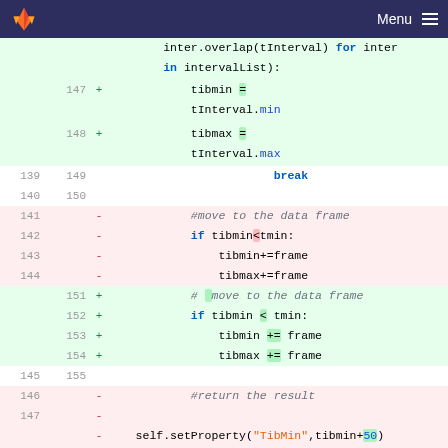[Figure (screenshot): GitLab-style code diff view showing Python source changes. Lines 139-148 old, 147-155 new shown with added (green) and removed (red) row backgrounds. Nav bar at top with logo and Menu button.]